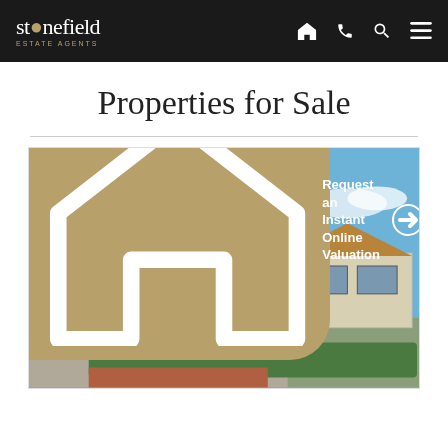stonefield ESTATE AGENTS
Properties for Sale
[Figure (photo): Exterior photograph of a row of semi-detached houses with white and beige render, under a blue sky with clouds. An 'Under Offer' badge is overlaid in the top-left. A CTA banner reads 'Request an Instant Online Valuation'.]